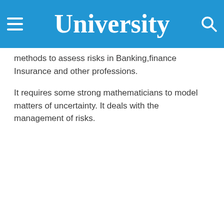University
methods to assess risks in Banking,finance Insurance and other professions.
It requires some strong mathematicians to model matters of uncertainty. It deals with the management of risks.